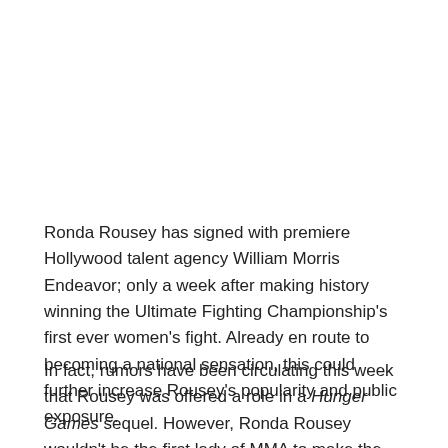Ronda Rousey has signed with premiere Hollywood talent agency William Morris Endeavor; only a week after making history winning the Ultimate Fighting Championship's first ever women's fight. Already en route to becoming a national sensation, this could further increase Rousey's popularity and public exposure.
In fact, rumors have been circulating this week that Rousey was offered a role in a Hunger Games sequel. However, Ronda Rousey wouldn't be the first lady of MMA to make the crossover to the big screen. Many of you fight fans already